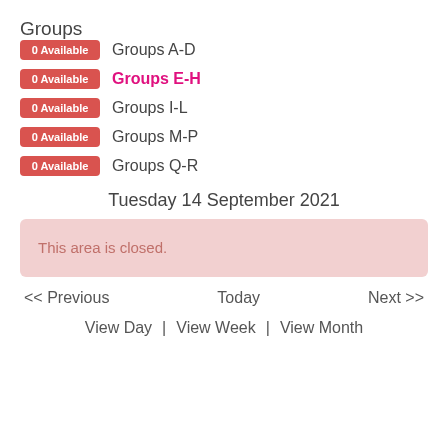Groups
0 Available   Groups A-D
0 Available   Groups E-H
0 Available   Groups I-L
0 Available   Groups M-P
0 Available   Groups Q-R
Tuesday 14 September 2021
This area is closed.
<< Previous   Today   Next >>
View Day  |  View Week  |  View Month